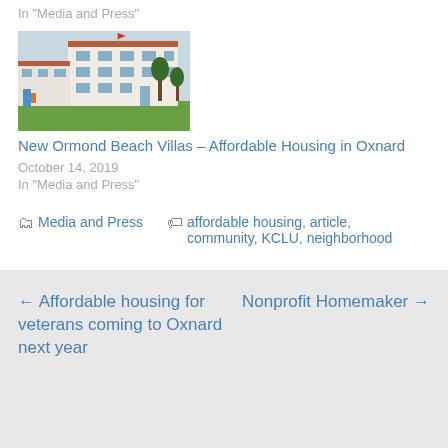In "Media and Press"
[Figure (photo): Exterior photo of New Ormond Beach Villas affordable housing complex in Oxnard, showing white multi-story building with green lawn and playground equipment in foreground]
New Ormond Beach Villas – Affordable Housing in Oxnard
October 14, 2019
In "Media and Press"
Media and Press   affordable housing, article, community, KCLU, neighborhood
← Affordable housing for veterans coming to Oxnard next year
Nonprofit Homemaker →